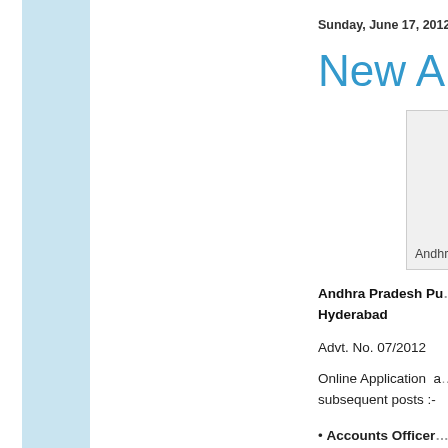Sunday, June 17, 2012
New AP PSC
[Figure (photo): Photo or logo image with caption 'Andhra Pra...' (Andhra Pradesh)]
Andhra Pradesh Pu... Hyderabad
Advt. No. 07/2012
Online Application a... subsequent posts :-
• Accounts Officer ... Subordinate Service
• Junior Accounts O... Subordinate Service
• Senior Accountan... Subordinate Service